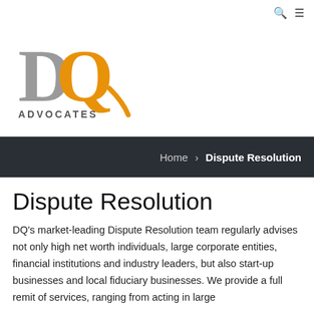[Figure (logo): DQ Advocates logo — large grey and orange letters D and Q with ADVOCATES text below]
Home › Dispute Resolution
Dispute Resolution
DQ's market-leading Dispute Resolution team regularly advises not only high net worth individuals, large corporate entities, financial institutions and industry leaders, but also start-up businesses and local fiduciary businesses. We provide a full remit of services, ranging from acting in large